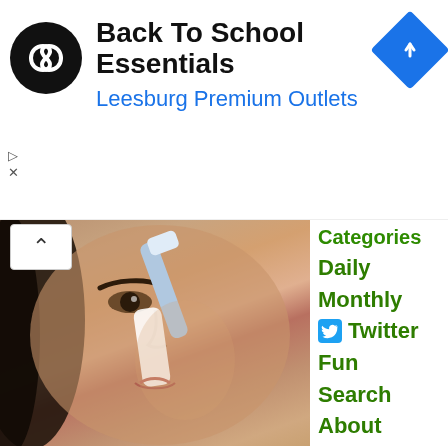[Figure (screenshot): Advertisement banner for Back To School Essentials at Leesburg Premium Outlets with circular black logo icon and blue navigation diamond icon]
Back To School Essentials
Leesburg Premium Outlets
[Figure (photo): Woman applying something white (toothbrush or strip) to her nose, close-up beauty/skin care tutorial photo]
Categories
Daily
Monthly
Twitter
Fun
Search
About
Removing Moles & Skin Tags has Never Been This Easy - Contact
This website is using cookies. We use them to give you the best experience. If you continue using our website, we'll assume that you are happy to receive all cookies on this website.
Continue
Learn more